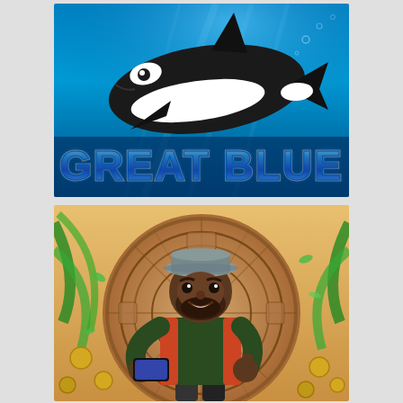[Figure (illustration): Great Blue slot game promotional image showing a killer whale (orca) swimming underwater in a bright blue ocean scene, with the game title 'GREAT BLUE' displayed in large chrome/metallic blue stylized letters at the bottom of the image.]
[Figure (illustration): Slot game promotional image showing an animated 3D character of a bearded explorer/treasure hunter man wearing a grey hat and green-red jacket, holding a smartphone, standing in front of a large Aztec/Mayan stone calendar wheel. Coins and tropical leaves scatter around him.]